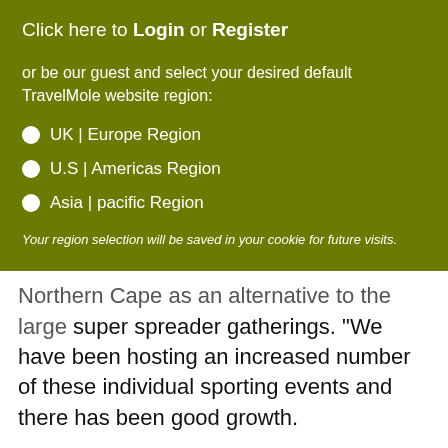Click here to Login or Register
or be our guest and select your desired default TravelMole website region:
UK | Europe Region
U.S | Americas Region
Asia | pacific Region
Your region selection will be saved in your cookie for future visits.
Northern Cape as an alternative to the large super spreader gatherings. “We have been hosting an increased number of these individual sporting events and there has been good growth.